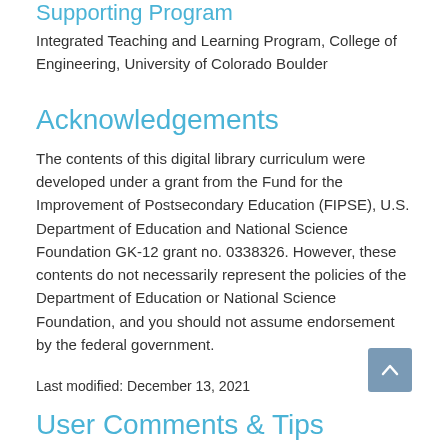Supporting Program
Integrated Teaching and Learning Program, College of Engineering, University of Colorado Boulder
Acknowledgements
The contents of this digital library curriculum were developed under a grant from the Fund for the Improvement of Postsecondary Education (FIPSE), U.S. Department of Education and National Science Foundation GK-12 grant no. 0338326. However, these contents do not necessarily represent the policies of the Department of Education or National Science Foundation, and you should not assume endorsement by the federal government.
Last modified: December 13, 2021
User Comments & Tips